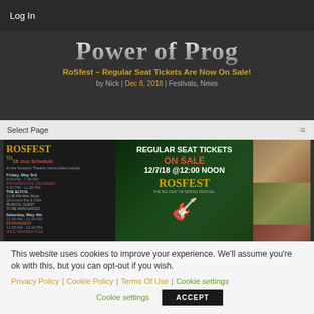Log In
Power of Prog
RoSfest – Regular Seat Tickets Are Now On Sale!
by Nick | Dec 8, 2018 | Festivals, News
Select Page
[Figure (screenshot): RoSfest festival promotional image showing schedule on left, Regular Seat Tickets On Sale announcement center with date 12/7/18 @12:00 NOON, and photo collage on right]
This website uses cookies to improve your experience. We'll assume you're ok with this, but you can opt-out if you wish.
Privacy Policy | Cookie Policy | Terms Of Use | Cookie settings
ACCEPT